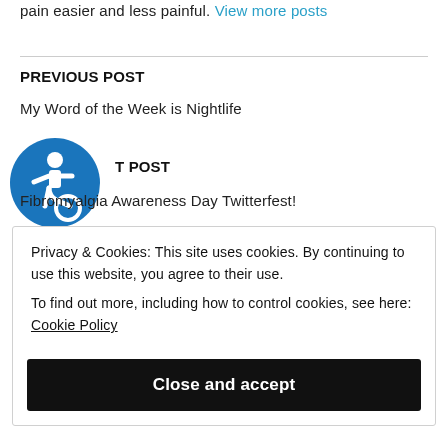pain easier and less painful. View more posts
PREVIOUS POST
My Word of the Week is Nightlife
[Figure (illustration): Accessibility icon — blue circle with white wheelchair user symbol]
NEXT POST
Fibromyalgia Awareness Day Twitterfest!
Privacy & Cookies: This site uses cookies. By continuing to use this website, you agree to their use. To find out more, including how to control cookies, see here: Cookie Policy
Close and accept